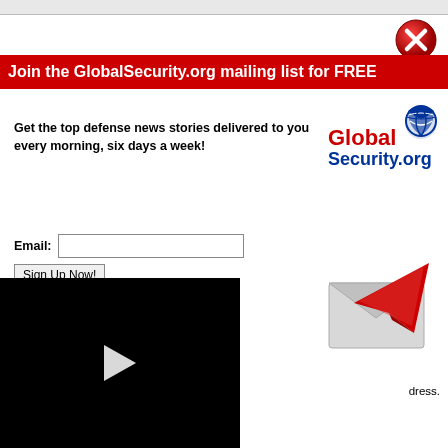[Figure (screenshot): Red X close button circle icon in top right corner]
Join the GlobalSecurity.org mailing list for FREE
Get the top defense news stories delivered to you every morning, six days a week!
[Figure (logo): GlobalSecurity.org logo with globe graphic]
Email:
Sign Up Now!
[Figure (photo): Black video player area with play button overlay]
[Figure (illustration): Email envelope illustration with red arrow]
dress.